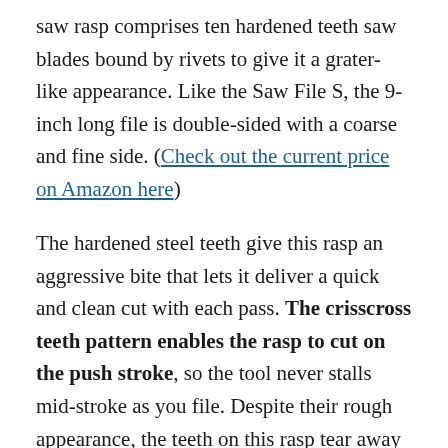saw rasp comprises ten hardened teeth saw blades bound by rivets to give it a grater-like appearance. Like the Saw File S, the 9-inch long file is double-sided with a coarse and fine side. (Check out the current price on Amazon here)
The hardened steel teeth give this rasp an aggressive bite that lets it deliver a quick and clean cut with each pass. The crisscross teeth pattern enables the rasp to cut on the push stroke, so the tool never stalls mid-stroke as you file. Despite their rough appearance, the teeth on this rasp tear away the wood without leaving unsightly directional gouges.
The fine side picks up where the coarse side leaves